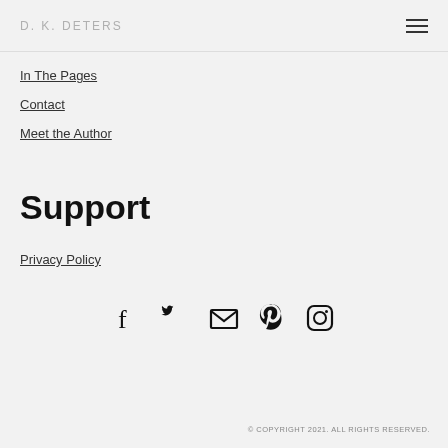D. K. DETERS
In The Pages
Contact
Meet the Author
Support
Privacy Policy
[Figure (infographic): Social media icons: Facebook, Twitter, Email, Pinterest, Instagram]
© COPYRIGHT 2021. ALL RIGHTS RESERVED.